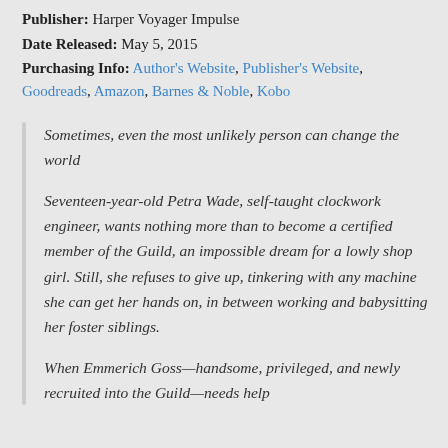Publisher: Harper Voyager Impulse
Date Released: May 5, 2015
Purchasing Info: Author's Website, Publisher's Website, Goodreads, Amazon, Barnes & Noble, Kobo
Sometimes, even the most unlikely person can change the world
Seventeen-year-old Petra Wade, self-taught clockwork engineer, wants nothing more than to become a certified member of the Guild, an impossible dream for a lowly shop girl. Still, she refuses to give up, tinkering with any machine she can get her hands on, in between working and babysitting her foster siblings.
When Emmerich Goss—handsome, privileged, and newly recruited into the Guild—needs help